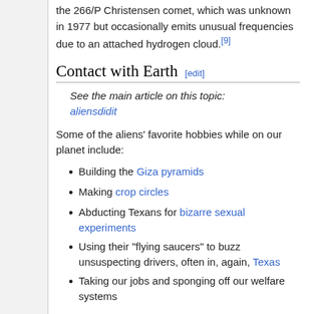the 266/P Christensen comet, which was unknown in 1977 but occasionally emits unusual frequencies due to an attached hydrogen cloud.[9]
Contact with Earth [edit]
See the main article on this topic: aliensdidit
Some of the aliens' favorite hobbies while on our planet include:
Building the Giza pyramids
Making crop circles
Abducting Texans for bizarre sexual experiments
Using their "flying saucers" to buzz unsuspecting drivers, often in, again, Texas
Taking our jobs and sponging off our welfare systems